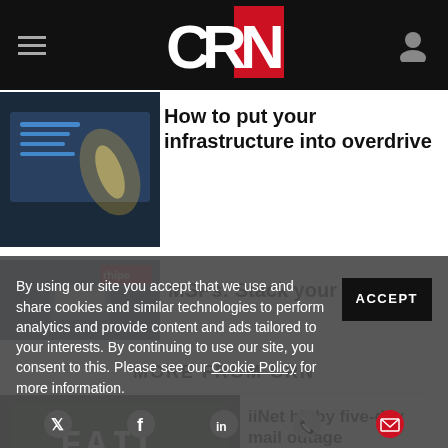CRN
How to put your infrastructure into overdrive
MSPs: Stack your solutions
MORE FROM CRN
iiNet hit by five-day mail outage
By using our site you accept that we use and share cookies and similar technologies to perform analytics and provide content and ads tailored to your interests. By continuing to use our site, you consent to this. Please see our Cookie Policy for more information.